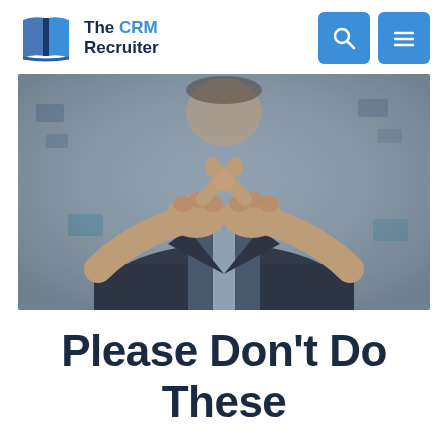The CRM Recruiter
[Figure (photo): A person in a dark suit holding both hands forward making an X shape with their index fingers, signaling 'no' or 'stop', with a blurred background]
Please Don't Do These